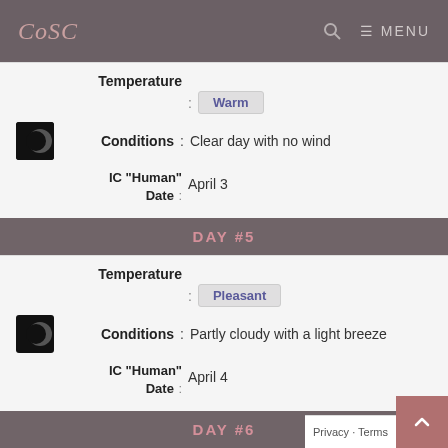CoSC MENU
Temperature : Warm
Conditions : Clear day with no wind
IC "Human" Date : April 3
DAY #5
Temperature : Pleasant
Conditions : Partly cloudy with a light breeze
IC "Human" Date : April 4
DAY #6
Temperature : Warm